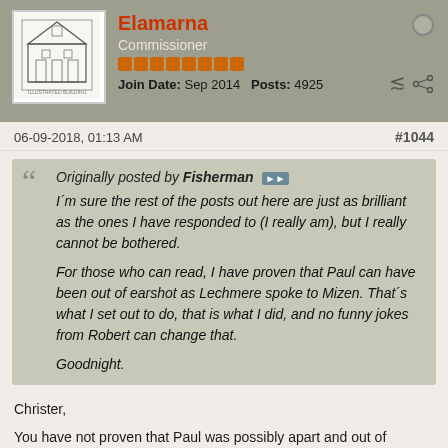Elamarna | Commissioner | Join Date: Sep 2014 | Posts: 4925
06-09-2018, 01:13 AM  #1044
Originally posted by Fisherman
I´m sure the rest of the posts out here are just as brilliant as the ones I have responded to (I really am), but I really cannot be bothered.

For those who can read, I have proven that Paul can have been out of earshot as Lechmere spoke to Mizen. That´s what I set out to do, that is what I did, and no funny jokes from Robert can change that.

Goodnight.
Christer,

You have not proven that Paul was possibly apart and out of earshot, That this claim is made in post after post when it is blatantly untrue is utterly rediculious.
Are we going down the old journalistic approach of repeating a known false account because we hope some may finally get tired of arguing or